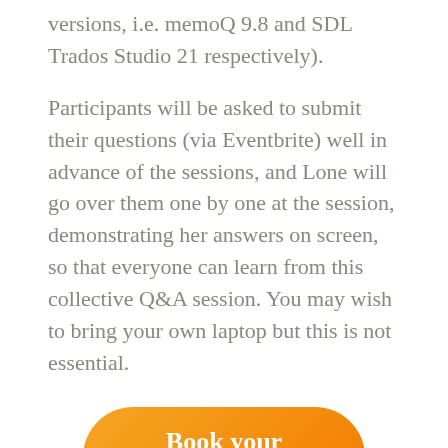versions, i.e. memoQ 9.8 and SDL Trados Studio 21 respectively).
Participants will be asked to submit their questions (via Eventbrite) well in advance of the sessions, and Lone will go over them one by one at the session, demonstrating her answers on screen, so that everyone can learn from this collective Q&A session. You may wish to bring your own laptop but this is not essential.
[Figure (other): Orange pill-shaped button with white bold text 'Book your place here']
Please note that booking closes on 22 October